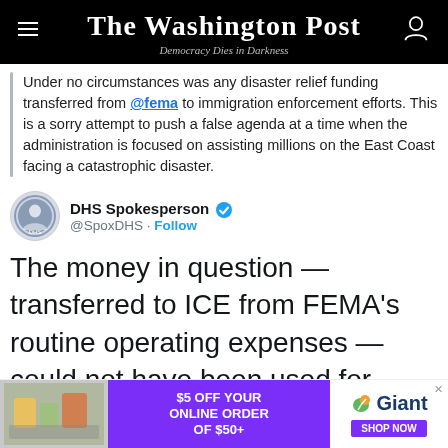The Washington Post
Democracy Dies in Darkness
Under no circumstances was any disaster relief funding transferred from @fema to immigration enforcement efforts. This is a sorry attempt to push a false agenda at a time when the administration is focused on assisting millions on the East Coast facing a catastrophic disaster.
DHS Spokesperson @SpoxDHS · Follow
The money in question — transferred to ICE from FEMA's routine operating expenses — could not have been used for hurricane response due to appropriation limitations. DHS/FEMA stand fiscally and operationally ready to
[Figure (screenshot): Advertisement banner: $5 OFF YOUR ONLINE ORDER OF $50+ Giant SHOP NOW]